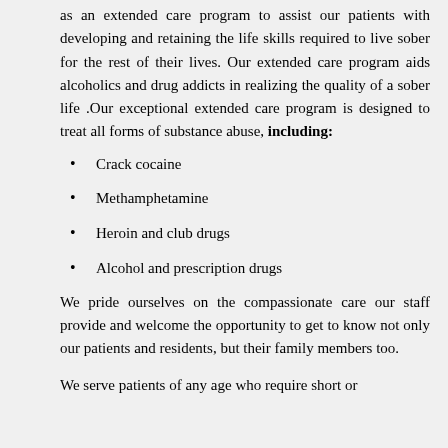as an extended care program to assist our patients with developing and retaining the life skills required to live sober for the rest of their lives. Our extended care program aids alcoholics and drug addicts in realizing the quality of a sober life .Our exceptional extended care program is designed to treat all forms of substance abuse, including:
Crack cocaine
Methamphetamine
Heroin and club drugs
Alcohol and prescription drugs
We pride ourselves on the compassionate care our staff provide and welcome the opportunity to get to know not only our patients and residents, but their family members too.
We serve patients of any age who require short or